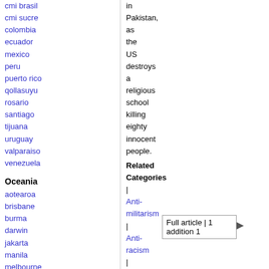cmi brasil
cmi sucre
colombia
ecuador
mexico
peru
puerto rico
qollasuyu
rosario
santiago
tijuana
uruguay
valparaiso
venezuela
Oceania
aotearoa
brisbane
burma
darwin
jakarta
manila
melbourne
perth
qc
sydney
in Pakistan, as the US destroys a religious school killing eighty innocent people.
Related Categories | Anti-militarism | Anti-racism | Repression
Full article | 1 addition 1
Photos from London IMC